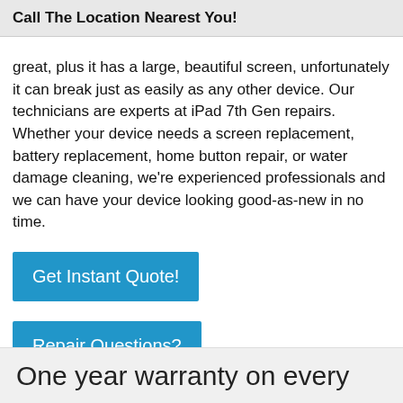Call The Location Nearest You!
great, plus it has a large, beautiful screen, unfortunately it can break just as easily as any other device. Our technicians are experts at iPad 7th Gen repairs. Whether your device needs a screen replacement, battery replacement, home button repair, or water damage cleaning, we're experienced professionals and we can have your device looking good-as-new in no time.
[Figure (other): Blue button labeled 'Get Instant Quote!']
[Figure (other): Blue button labeled 'Repair Questions?']
One year warranty on every